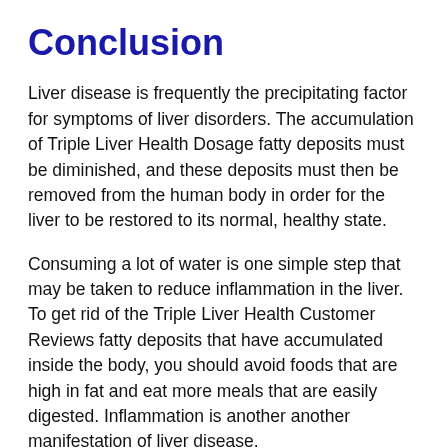Conclusion
Liver disease is frequently the precipitating factor for symptoms of liver disorders. The accumulation of Triple Liver Health Dosage fatty deposits must be diminished, and these deposits must then be removed from the human body in order for the liver to be restored to its normal, healthy state.
Consuming a lot of water is one simple step that may be taken to reduce inflammation in the liver. To get rid of the Triple Liver Health Customer Reviews fatty deposits that have accumulated inside the body, you should avoid foods that are high in fat and eat more meals that are easily digested. Inflammation is another another manifestation of liver disease.
In severe cases, the entire liver may be affected by the condition. In circumstances such as these, the